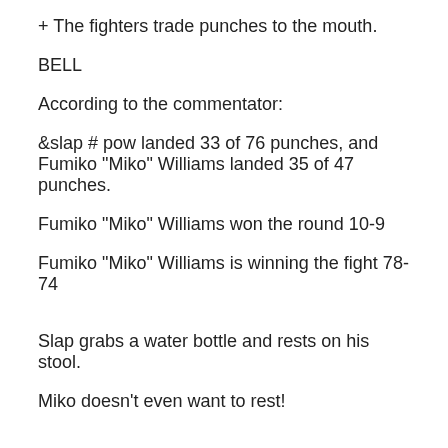+ The fighters trade punches to the mouth.
BELL
According to the commentator:
&slap # pow landed 33 of 76 punches, and Fumiko "Miko" Williams landed 35 of 47 punches.
Fumiko "Miko" Williams won the round 10-9
Fumiko "Miko" Williams is winning the fight 78-74
Slap grabs a water bottle and rests on his stool.
Miko doesn't even want to rest!